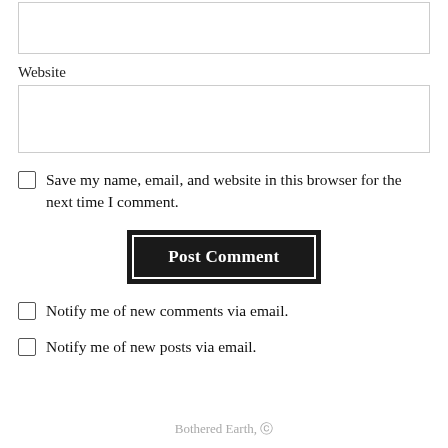Website
Save my name, email, and website in this browser for the next time I comment.
Post Comment
Notify me of new comments via email.
Notify me of new posts via email.
Bothered Earth, Ⓦ